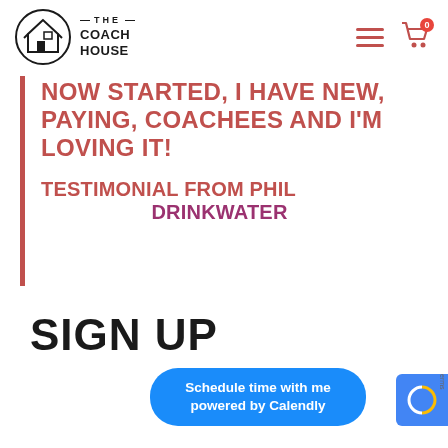[Figure (logo): The Coach House logo with house icon in circle and text '— THE — COACH HOUSE']
[Figure (screenshot): Navigation icons: hamburger menu (3 red lines) and shopping cart with red badge showing 0]
NOW STARTED, I HAVE NEW, PAYING, COACHEES AND I'M LOVING IT!
TESTIMONIAL FROM PHIL DRINKWATER
SIGN UP
Schedule time with me powered by Calendly